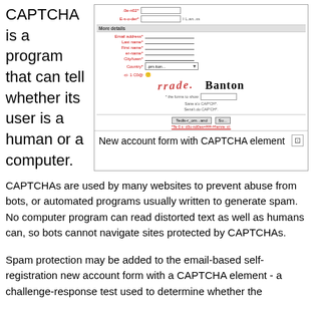CAPTCHA is a program that can tell whether its user is a human or a computer.
[Figure (screenshot): Screenshot of a new account registration form with CAPTCHA element, showing fields for email address, last name, first name, username, city/town, country (dropdown), and a CAPTCHA challenge with two distorted text images and an input field.]
New account form with CAPTCHA element
CAPTCHAs are used by many websites to prevent abuse from bots, or automated programs usually written to generate spam. No computer program can read distorted text as well as humans can, so bots cannot navigate sites protected by CAPTCHAs.
Spam protection may be added to the email-based self-registration new account form with a CAPTCHA element - a challenge-response test used to determine whether the